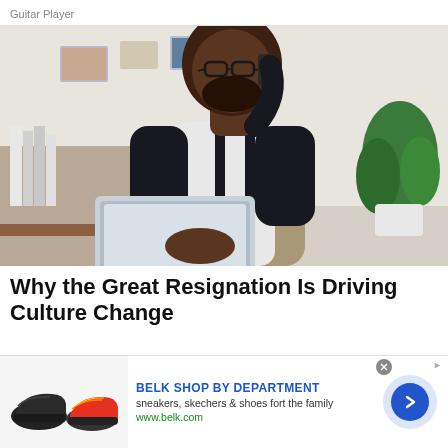Guitar Player
[Figure (photo): A smiling bald Black man with glasses and a beard, wearing a white and tan colorblock sweater with dark suspenders, talking on a phone while using a laptop. He is seated in a home office with books, a red desk lamp, photos pinned to a wall, and a green plant in the background.]
Why the Great Resignation Is Driving Culture Change
[Figure (other): Advertisement banner for Belk Shop by Department featuring two sneakers/shoes on the left, text 'BELK SHOP BY DEPARTMENT', 'sneakers, skechers & shoes fort the family', 'www.belk.com', and a blue arrow button on the right.]